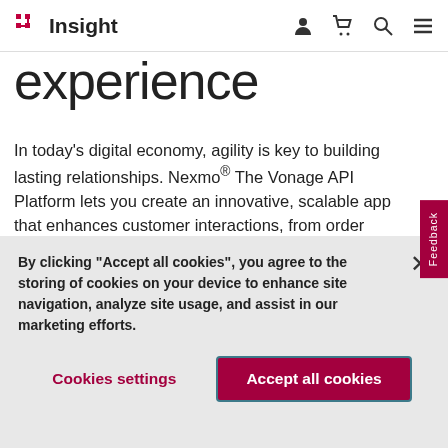Insight
experience
In today's digital economy, agility is key to building lasting relationships. Nexmo® The Vonage API Platform lets you create an innovative, scalable app that enhances customer interactions, from order placement to troubleshooting.
By clicking "Accept all cookies", you agree to the storing of cookies on your device to enhance site navigation, analyze site usage, and assist in our marketing efforts.
Cookies settings
Accept all cookies